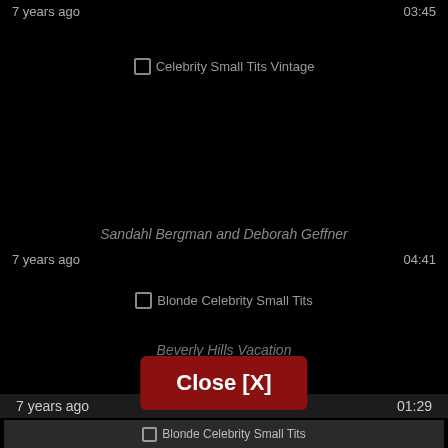7 years ago  03:45
[Figure (screenshot): Video thumbnail placeholder for Celebrity Small Tits Vintage]
Sandahl Bergman and Deborah Geffner
7 years ago  04:41
[Figure (screenshot): Video thumbnail placeholder for Blonde Celebrity Small Tits]
Beverly Hills Vacation
7 years ago  01:29
[Figure (screenshot): Video thumbnail for Blonde Celebrity Small Tits at bottom]
Close [X]